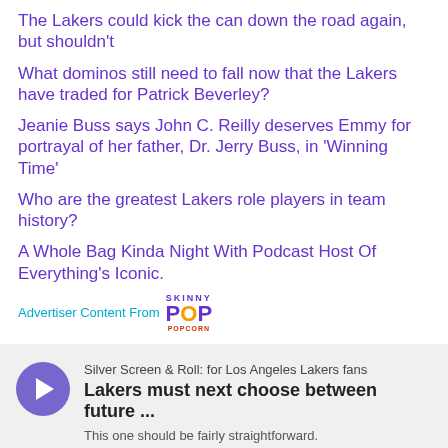The Lakers could kick the can down the road again, but shouldn't
What dominos still need to fall now that the Lakers have traded for Patrick Beverley?
Jeanie Buss says John C. Reilly deserves Emmy for portrayal of her father, Dr. Jerry Buss, in 'Winning Time'
Who are the greatest Lakers role players in team history?
A Whole Bag Kinda Night With Podcast Host Of Everything's Iconic.
Advertiser Content From SkinnyPop Popcorn
[Figure (other): Podcast player widget for 'Silver Screen & Roll: for Los Angeles Lakers fans' — episode 'Lakers must next choose between future ...' with waveform audio visualization, timestamp 00:00:00, and description 'This one should be fairly straightforward.']